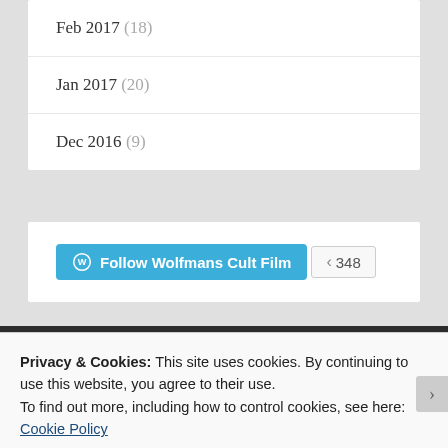Feb 2017 (18)
Jan 2017 (20)
Dec 2016 (9)
[Figure (other): Follow Wolfmans Cult Film WordPress follow button with follower count 348]
Privacy & Cookies: This site uses cookies. By continuing to use this website, you agree to their use.
To find out more, including how to control cookies, see here: Cookie Policy
Close and accept